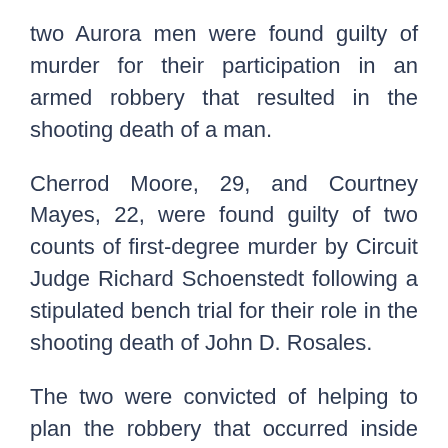two Aurora men were found guilty of murder for their participation in an armed robbery that resulted in the shooting death of a man.
Cherrod Moore, 29, and Courtney Mayes, 22, were found guilty of two counts of first-degree murder by Circuit Judge Richard Schoenstedt following a stipulated bench trial for their role in the shooting death of John D. Rosales.
The two were convicted of helping to plan the robbery that occurred inside the